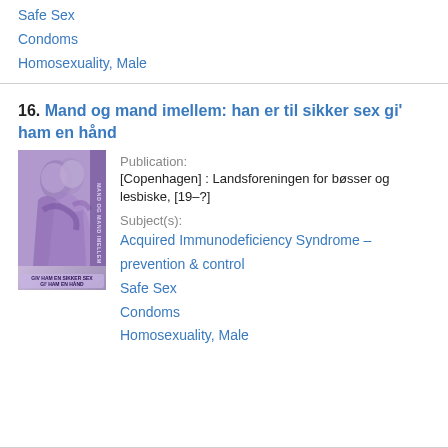Safe Sex
Condoms
Homosexuality, Male
16. Mand og mand imellem: han er til sikker sex gi' ham en hånd
Publication:
[Copenhagen] : Landsforeningen for bøsser og lesbiske, [19–?]
Subject(s):
Acquired Immunodeficiency Syndrome – prevention & control
Safe Sex
Condoms
Homosexuality, Male
[Figure (photo): Book cover of 'Mand og mand imellem' showing a close-up black and white or purple-tinted photographic image of two people embracing, with vertical text on the spine reading 'MAND OG MAND IMELLEM']